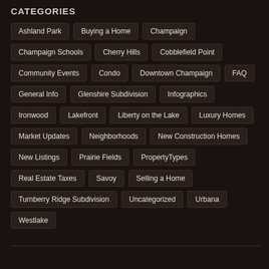CATEGORIES
Ashland Park
Buying a Home
Champaign
Champaign Schools
Cherry Hills
Cobblefield Point
Community Events
Condo
Downtown Champaign
FAQ
General Info
Glenshire Subdivision
Infographics
Ironwood
Lakefront
Liberty on the Lake
Luxury Homes
Market Updates
Neighborhoods
New Construction Homes
New Listings
Prairie Fields
PropertyTypes
Real Estate Taxes
Savoy
Selling a Home
Turnberry Ridge Subdivision
Uncategorized
Urbana
Westlake